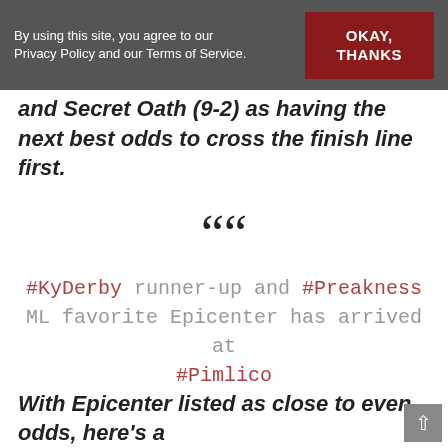By using this site, you agree to our Privacy Policy and our Terms of Service. | OKAY, THANKS
and Secret Oath (9-2) as having the next best odds to cross the finish line first.
❝ #KyDerby runner-up and #Preakness ML favorite Epicenter has arrived at #Pimlico pic.twitter.com/ITSZ549WNL – Nicole Russo (@DRFRusso) May 17, 2022
With Epicenter listed as close to even odds, here's a